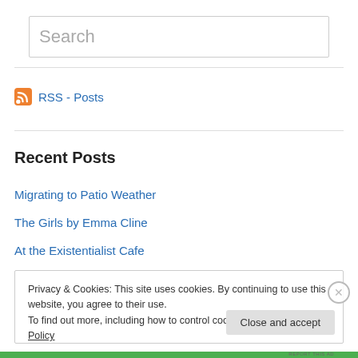[Figure (screenshot): Search input box with placeholder text 'Search']
RSS - Posts
Recent Posts
Migrating to Patio Weather
The Girls by Emma Cline
At the Existentialist Cafe
Privacy & Cookies: This site uses cookies. By continuing to use this website, you agree to their use.
To find out more, including how to control cookies, see here: Cookie Policy
Close and accept